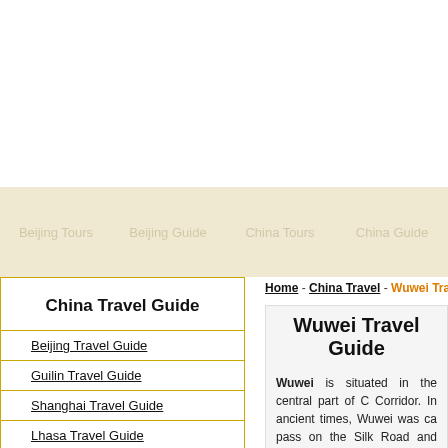Beijing Tours   Beijing Guide   China Tours   China Guide
Home - China Travel - Wuwei Travel Guide
China Travel Guide
Beijing Travel Guide
Guilin Travel Guide
Shanghai Travel Guide
Lhasa Travel Guide
Lijiang Travel Guide
Xian Travel Guide
Guangzhou Travel Guide
Tibet Travel Guide
Wuwei Travel Guide
Wuwei is situated in the central part of Corridor. In ancient times, Wuwei was ca pass on the Silk Road and once became attractive temples, a pleasant new town a northwestern China, Wuwei should be liste